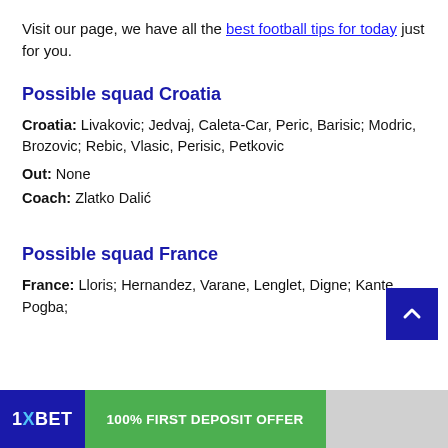Visit our page, we have all the best football tips for today just for you.
Possible squad Croatia
Croatia: Livakovic; Jedvaj, Caleta-Car, Peric, Barisic; Modric, Brozovic; Rebic, Vlasic, Perisic, Petkovic
Out: None
Coach: Zlatko Dalić
Possible squad France
France: Lloris; Hernandez, Varane, Lenglet, Digne; Kante, Pogba;
[Figure (other): Dark blue square back-to-top button with upward chevron arrow]
[Figure (other): 1XBET advertisement banner: '1XBET' logo on dark blue background and '100% FIRST DEPOSIT OFFER' on green background]